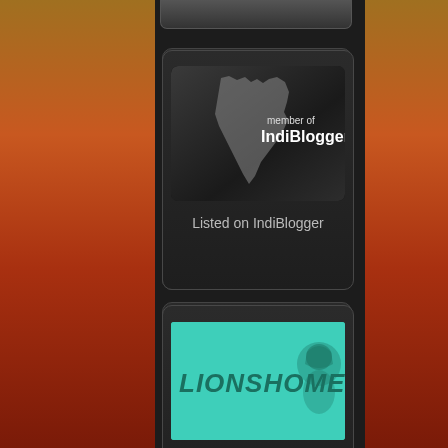[Figure (screenshot): Member of IndiBlogger badge with India map silhouette and text 'member of IndiBlogger' on dark background]
Listed on IndiBlogger
[Figure (logo): LionsHome logo - green/teal rectangle with 'LIONSHOME' text and lion icon]
Listed on LionsHome
[Figure (logo): Netbhet.com logo image (broken/placeholder)]
Listed on Marathi Blog-Katta
Blogroll
Devdutt Patnaik's Blog |